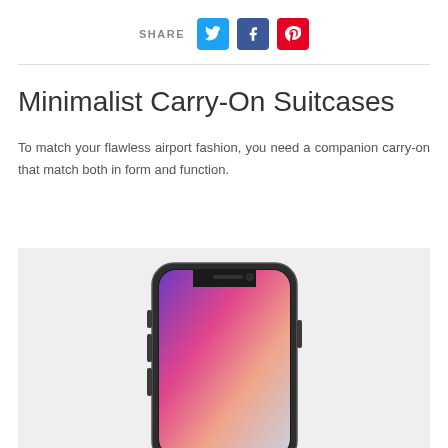SHARE
Minimalist Carry-On Suitcases
To match your flawless airport fashion, you need a companion carry-on that match both in form and function.
[Figure (photo): iPhone X displayed on a light gray background, showing the screen with a colorful gradient wallpaper]